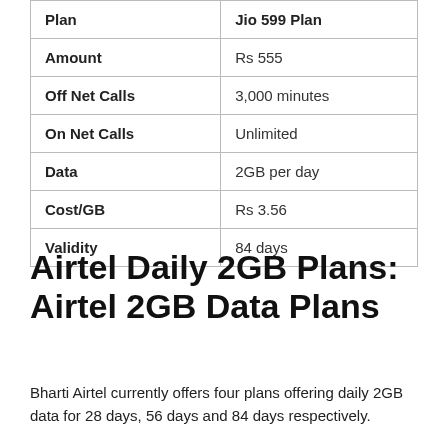| Plan | Jio 599 Plan |
| --- | --- |
| Amount | Rs 555 |
| Off Net Calls | 3,000 minutes |
| On Net Calls | Unlimited |
| Data | 2GB per day |
| Cost/GB | Rs 3.56 |
| Validity | 84 days |
Airtel Daily 2GB Plans: Airtel 2GB Data Plans
Bharti Airtel currently offers four plans offering daily 2GB data for 28 days, 56 days and 84 days respectively.